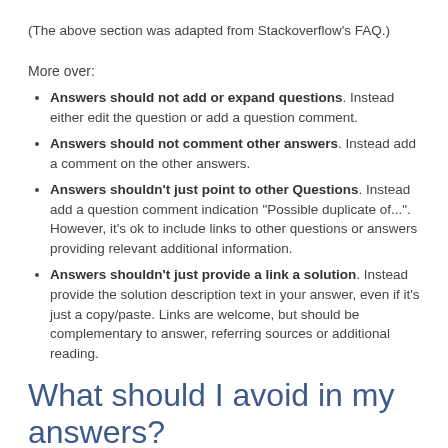(The above section was adapted from Stackoverflow's FAQ.)
More over:
Answers should not add or expand questions. Instead either edit the question or add a question comment.
Answers should not comment other answers. Instead add a comment on the other answers.
Answers shouldn't just point to other Questions. Instead add a question comment indication "Possible duplicate of...". However, it's ok to include links to other questions or answers providing relevant additional information.
Answers shouldn't just provide a link a solution. Instead provide the solution description text in your answer, even if it's just a copy/paste. Links are welcome, but should be complementary to answer, referring sources or additional reading.
What should I avoid in my answers?
Answers should not add or expand questions. Instead either edit